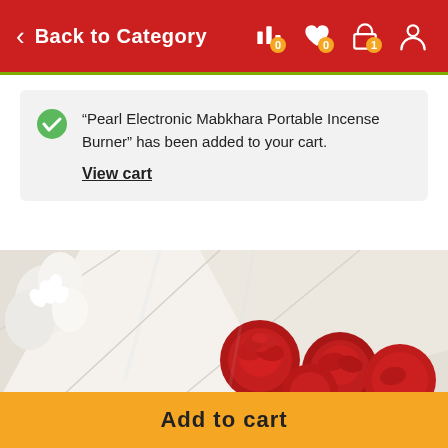Back to Category
“Pearl Electronic Mabkhara Portable Incense Burner” has been added to your cart.
View cart
[Figure (photo): Red roses arranged in a bouquet with white flowers and white wrapping paper]
Add to cart